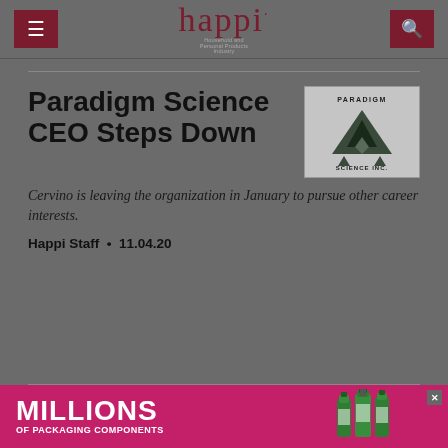happi — Household and Personal Products Industry
[Figure (logo): Paradigm Science Inc. logo — triangular geometric shapes in dark green/black with company name above and below]
Paradigm Science CEO Steps Down
Cervino is leaving the organization in January to pursue other career interests.
Happi Staff • 11.04.20
[Figure (photo): Advertisement banner: MILLIONS OF PACKAGING COMPONENTS text in white on magenta/pink background with green bottles imagery]